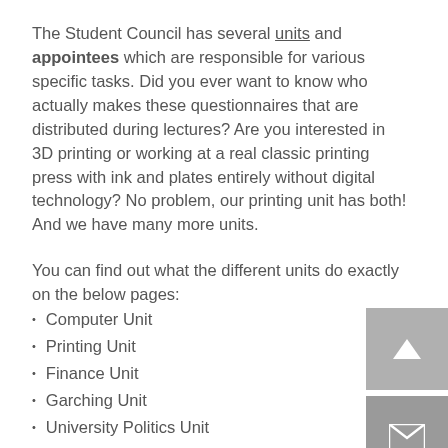The Student Council has several units and appointees which are responsible for various specific tasks. Did you ever want to know who actually makes these questionnaires that are distributed during lectures? Are you interested in 3D printing or working at a real classic printing press with ink and plates entirely without digital technology? No problem, our printing unit has both! And we have many more units.
You can find out what the different units do exactly on the below pages:
Computer Unit
Printing Unit
Finance Unit
Garching Unit
University Politics Unit